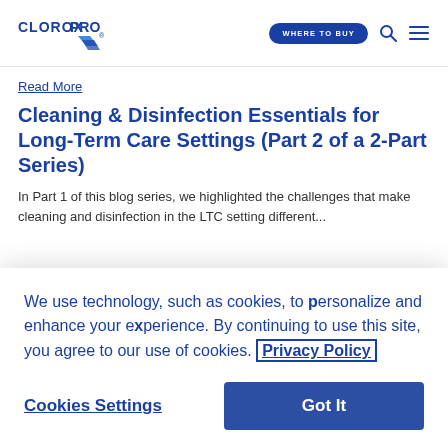CLOROXPRO | WHERE TO BUY
Read More
Cleaning & Disinfection Essentials for Long-Term Care Settings (Part 2 of a 2-Part Series)
In Part 1 of this blog series, we highlighted the challenges that make cleaning and disinfection in the LTC setting different...
We use technology, such as cookies, to personalize and enhance your experience. By continuing to use this site, you agree to our use of cookies. Privacy Policy
Cookies Settings | Got It